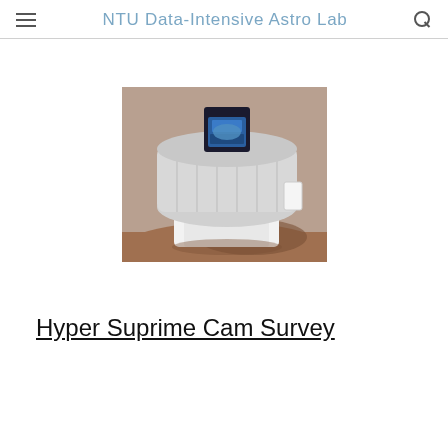NTU Data-Intensive Astro Lab
[Figure (photo): Aerial or elevated view of the Hyper Suprime-Cam telescope instrument mounted on a telescope at Mauna Kea Observatory. The cylindrical silver/transparent dome-like camera housing is open, revealing blue optical components inside. The telescope sits on a white base, with reddish-brown volcanic terrain visible in the background.]
Hyper Suprime Cam Survey